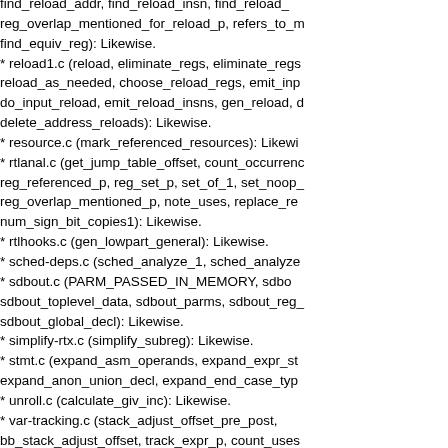find_reload_addr, find_reload_insn, find_reload_: reg_overlap_mentioned_for_reload_p, refers_to_mem_p, find_equiv_reg): Likewise.
reload1.c (reload, eliminate_regs, eliminate_regs_in_insns, reload_as_needed, choose_reload_regs, emit_input_reload_insns, do_input_reload, emit_reload_insns, gen_reload, delete_dead_insns, delete_address_reloads): Likewise.
resource.c (mark_referenced_resources): Likewise.
rtlanal.c (get_jump_table_offset, count_occurrences, reg_referenced_p, reg_set_p, set_of_1, set_noop_p, reg_overlap_mentioned_p, note_uses, replace_regs, num_sign_bit_copies1): Likewise.
rtlhooks.c (gen_lowpart_general): Likewise.
sched-deps.c (sched_analyze_1, sched_analyze_2):
sdbout.c (PARM_PASSED_IN_MEMORY, sdbout_toplevel_data, sdbout_parms, sdbout_reg_parms, sdbout_global_decl): Likewise.
simplify-rtx.c (simplify_subreg): Likewise.
stmt.c (expand_asm_operands, expand_expr_stmt_value, expand_anon_union_decl, expand_end_case_type):
unroll.c (calculate_giv_inc): Likewise.
var-tracking.c (stack_adjust_offset_pre_post, bb_stack_adjust_offset, track_expr_p, count_uses, add_stores, compute_bb_dataflow, vt_get_decl_and_offset, vt_add_function_parameters): Likewise.
varasm.c (make_var_volatile, notice_global_symbol, assemble_external, decode_addr_const, mark_weak, default_encode_section_info): Likewise.
git-svn-id: svn+ssh://gcc.gnu.org/svn/gcc/trunk@8